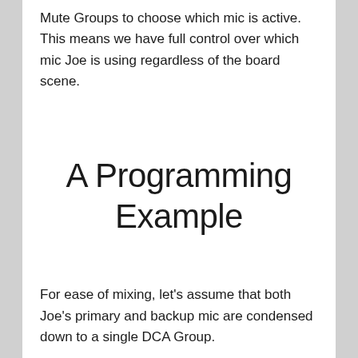Mute Groups to choose which mic is active.  This means we have full control over which mic Joe is using regardless of the board scene.
A Programming Example
For ease of mixing, let's assume that both Joe's primary and backup mic are condensed down to a single DCA Group.